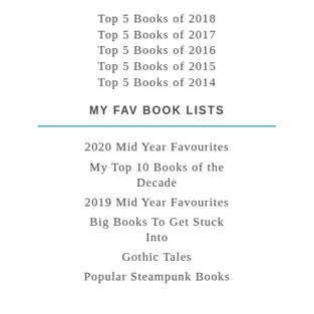Top 5 Books of 2018
Top 5 Books of 2017
Top 5 Books of 2016
Top 5 Books of 2015
Top 5 Books of 2014
MY FAV BOOK LISTS
2020 Mid Year Favourites
My Top 10 Books of the Decade
2019 Mid Year Favourites
Big Books To Get Stuck Into
Gothic Tales
Popular Steampunk Books